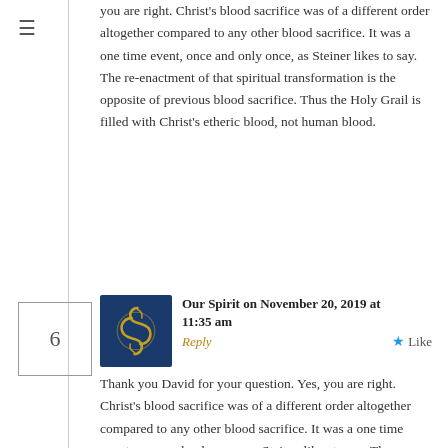you are right. Christ's blood sacrifice was of a different order altogether compared to any other blood sacrifice. It was a one time event, once and only once, as Steiner likes to say. The re-enactment of that spiritual transformation is the opposite of previous blood sacrifice. Thus the Holy Grail is filled with Christ's etheric blood, not human blood.
Our Spirit on November 20, 2019 at 11:35 am Reply Like
Thank you David for your question. Yes, you are right. Christ's blood sacrifice was of a different order altogether compared to any other blood sacrifice. It was a one time event, once and only once, as Steiner likes to say. The re-